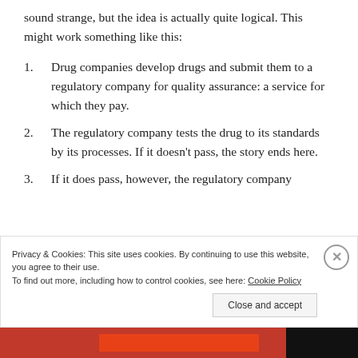sound strange, but the idea is actually quite logical. This might work something like this:
Drug companies develop drugs and submit them to a regulatory company for quality assurance: a service for which they pay.
The regulatory company tests the drug to its standards by its processes. If it doesn't pass, the story ends here.
If it does pass, however, the regulatory company
Privacy & Cookies: This site uses cookies. By continuing to use this website, you agree to their use.
To find out more, including how to control cookies, see here: Cookie Policy
Close and accept